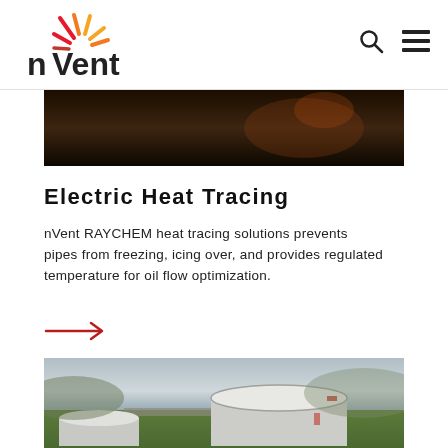nVent logo with search and menu icons
[Figure (photo): Partial dark cropped image at top of page, appears to be an industrial scene with dark tones]
Electric Heat Tracing
nVent RAYCHEM heat tracing solutions prevents pipes from freezing, icing over, and provides regulated temperature for oil flow optimization.
[Figure (illustration): Red right-pointing arrow link indicator]
[Figure (photo): Aerial view of large white industrial storage tanks on a green landscape with roads visible]